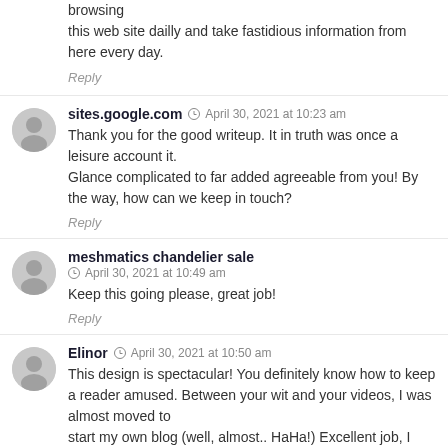browsing
this web site dailly and take fastidious information from here every day.
Reply
sites.google.com  April 30, 2021 at 10:23 am
Thank you for the good writeup. It in truth was once a leisure account it.
Glance complicated to far added agreeable from you! By the way, how can we keep in touch?
Reply
meshmatics chandelier sale
April 30, 2021 at 10:49 am
Keep this going please, great job!
Reply
Elinor  April 30, 2021 at 10:50 am
This design is spectacular! You definitely know how to keep a reader amused. Between your wit and your videos, I was almost moved to start my own blog (well, almost.. HaHa!) Excellent job, I